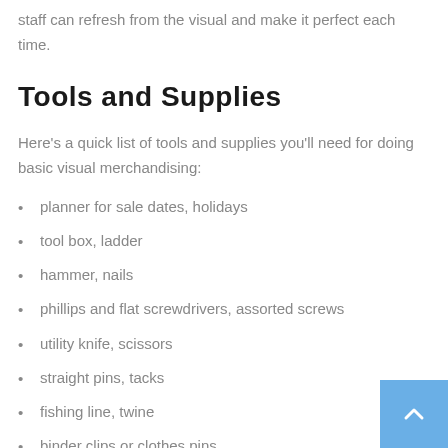staff can refresh from the visual and make it perfect each time.
Tools and Supplies
Here's a quick list of tools and supplies you'll need for doing basic visual merchandising:
planner for sale dates, holidays
tool box, ladder
hammer, nails
phillips and flat screwdrivers, assorted screws
utility knife, scissors
straight pins, tacks
fishing line, twine
binder clips or clothes pins